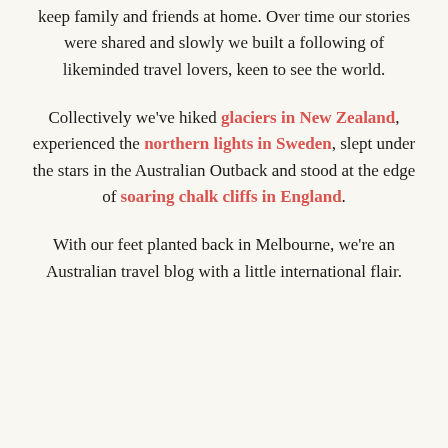keep family and friends at home. Over time our stories were shared and slowly we built a following of likeminded travel lovers, keen to see the world.
Collectively we've hiked glaciers in New Zealand, experienced the northern lights in Sweden, slept under the stars in the Australian Outback and stood at the edge of soaring chalk cliffs in England.
With our feet planted back in Melbourne, we're an Australian travel blog with a little international flair.